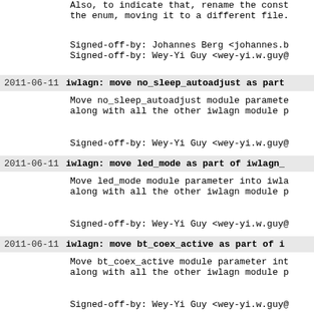Also, to indicate that, rename the const
the enum, moving it to a different file.
Signed-off-by: Johannes Berg <johannes.b
Signed-off-by: Wey-Yi Guy <wey-yi.w.guy@
2011-06-11  iwlagn: move no_sleep_autoadjust as part
Move no_sleep_autoadjust module paramete
along with all the other iwlagn module p
Signed-off-by: Wey-Yi Guy <wey-yi.w.guy@
2011-06-11  iwlagn: move led_mode as part of iwlagn_
Move led_mode module parameter into iwla
along with all the other iwlagn module p
Signed-off-by: Wey-Yi Guy <wey-yi.w.guy@
2011-06-11  iwlagn: move bt_coex_active as part of i
Move bt_coex_active module parameter int
along with all the other iwlagn module p
Signed-off-by: Wey-Yi Guy <wey-yi.w.guy@